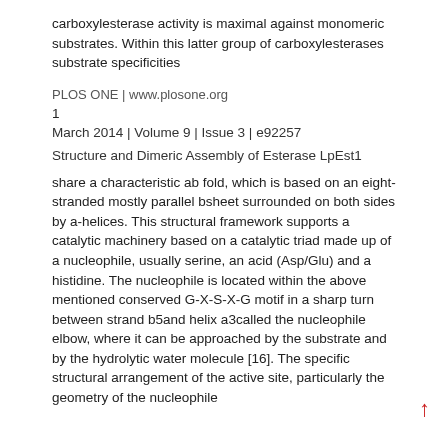carboxylesterase activity is maximal against monomeric substrates. Within this latter group of carboxylesterases substrate specificities
PLOS ONE | www.plosone.org
1
March 2014 | Volume 9 | Issue 3 | e92257
Structure and Dimeric Assembly of Esterase LpEst1
share a characteristic ab fold, which is based on an eight-stranded mostly parallel bsheet surrounded on both sides by a-helices. This structural framework supports a catalytic machinery based on a catalytic triad made up of a nucleophile, usually serine, an acid (Asp/Glu) and a histidine. The nucleophile is located within the above mentioned conserved G-X-S-X-G motif in a sharp turn between strand b5and helix a3called the nucleophile elbow, where it can be approached by the substrate and by the hydrolytic water molecule [16]. The specific structural arrangement of the active site, particularly the geometry of the nucleophile